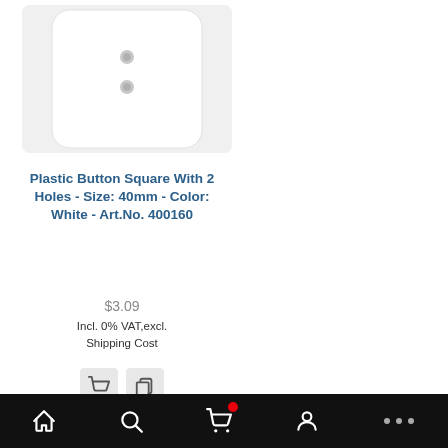[Figure (photo): White square plastic button with 2 holes, close-up product photo on light gray background]
Plastic Button Square With 2 Holes - Size: 40mm - Color: White - Art.No. 400160
$3.09
Incl. 0% VAT,excl. Shipping Cost
[Figure (screenshot): Mobile bottom navigation bar with home, search, cart (with red badge), profile, and more icons on black background]